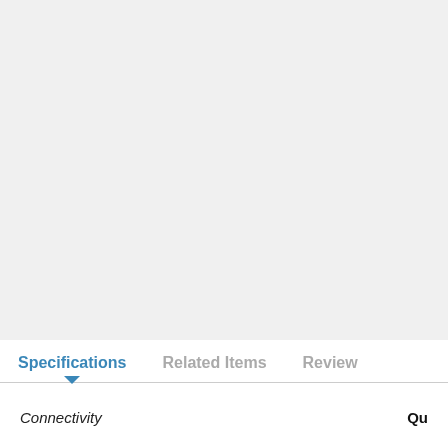Specifications
Related Items
Review
Connectivity
Qu